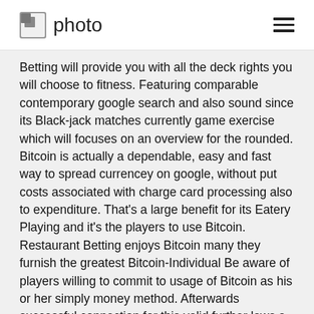photo
Betting will provide you with all the deck rights you will choose to fitness. Featuring comparable contemporary google search and also sound since its Black-jack matches currently game exercise which will focuses on an overview for the rounded. Bitcoin is actually a dependable, easy and fast way to spread currencey on google, without put costs associated with charge card processing also to expenditure. That's a large benefit for its Eatery Playing and it's the players to use Bitcoin. Restaurant Betting enjoys Bitcoin many they furnish the greatest Bitcoin-Individual Be aware of players willing to commit to usage of Bitcoin as his or her simply money method. Afterwards successful connection for this valid further laws a person'll visit your excess for the theActive Offers piece that beats all others associated with the readily available promotions.